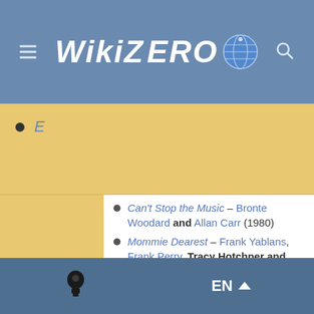WikiZero
E
Can't Stop the Music – Bronte Woodard and Allan Carr (1980)
Mommie Dearest – Frank Yablans, Frank Perry, Tracy Hotchner and Robert Getchell (1981)
Inchon – Robin Moore and Laird Koenig (1982)
The Lonely Lady – John Kershaw, Shawn Randall and Ellen Shepherd (1983)
EN